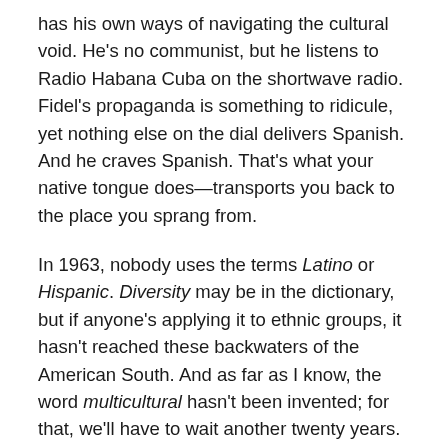has his own ways of navigating the cultural void. He's no communist, but he listens to Radio Habana Cuba on the shortwave radio. Fidel's propaganda is something to ridicule, yet nothing else on the dial delivers Spanish. And he craves Spanish. That's what your native tongue does—transports you back to the place you sprang from.
In 1963, nobody uses the terms Latino or Hispanic. Diversity may be in the dictionary, but if anyone's applying it to ethnic groups, it hasn't reached these backwaters of the American South. And as far as I know, the word multicultural hasn't been invented; for that, we'll have to wait another twenty years.
When I, the second-grade immigrant kid, drop by the Perry County Public Library, it's to a creaky old clapboard house whose floors sag under the weight of books. The library at